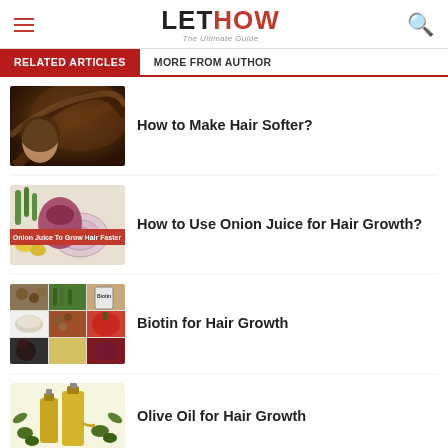LETHOW – The Ultimate Guide
RELATED ARTICLES | MORE FROM AUTHOR
[Figure (photo): Thumbnail of woman with soft shiny dark hair]
How to Make Hair Softer?
[Figure (photo): Thumbnail showing onion juice for hair growth with red banner text]
How to Use Onion Juice for Hair Growth?
[Figure (photo): Thumbnail collage of biotin-rich foods including nuts, vegetables, and Biotin label]
Biotin for Hair Growth
[Figure (photo): Thumbnail of olive oil bottles with olives]
Olive Oil for Hair Growth